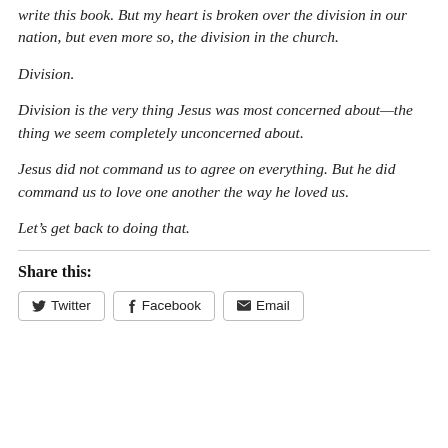write this book. But my heart is broken over the division in our nation, but even more so, the division in the church.
Division.
Division is the very thing Jesus was most concerned about—the thing we seem completely unconcerned about.
Jesus did not command us to agree on everything. But he did command us to love one another the way he loved us.
Let’s get back to doing that.
Share this:
Twitter  Facebook  Email